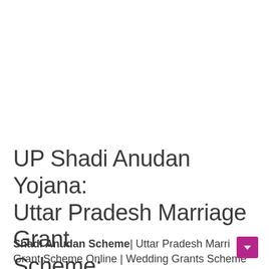UP Shadi Anudan Yojana: Uttar Pradesh Marriage Grant Scheme:
Shadi Anudan Scheme| Uttar Pradesh Marriage Grant Scheme Online | Wedding Grants Scheme